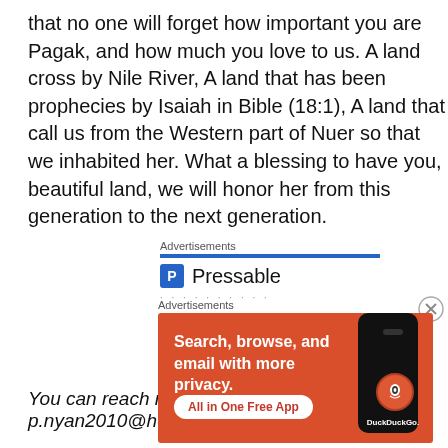that no one will forget how important you are Pagak, and how much you love to us. A land cross by Nile River, A land that has been prophecies by Isaiah in Bible (18:1), A land that call us from the Western part of Nuer so that we inhabited her. What a blessing to have you, beautiful land, we will honor her from this generation to the next generation.
You can reach me through p.nyan2010@hotmail.com.au
[Figure (screenshot): Advertisement section showing Pressable logo with blue bar and dotted separator, and a DuckDuckGo banner advertisement with orange background saying 'Search, browse, and email with more privacy. All in One Free App' with phone graphic and DuckDuckGo logo.]